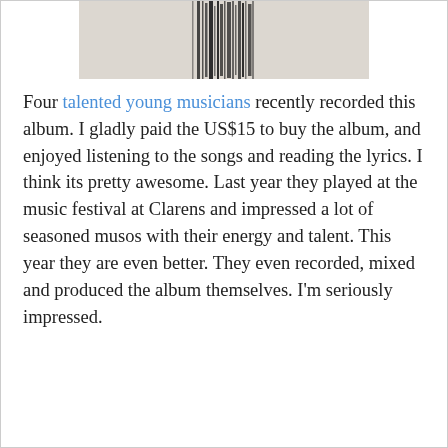[Figure (photo): Partial view of an album cover or artwork showing dark abstract streaks/lines on a light gray background]
Four talented young musicians recently recorded this album. I gladly paid the US$15 to buy the album, and enjoyed listening to the songs and reading the lyrics. I think its pretty awesome. Last year they played at the music festival at Clarens and impressed a lot of seasoned musos with their energy and talent. This year they are even better. They even recorded, mixed and produced the album themselves. I'm seriously impressed.